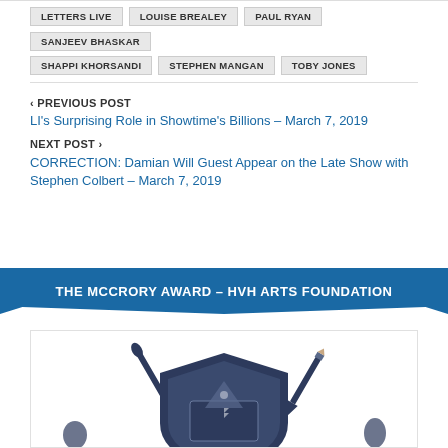LETTERS LIVE
LOUISE BREALEY
PAUL RYAN
SANJEEV BHASKAR
SHAPPI KHORSANDI
STEPHEN MANGAN
TOBY JONES
< PREVIOUS POST
LI's Surprising Role in Showtime's Billions – March 7, 2019
NEXT POST >
CORRECTION: Damian Will Guest Appear on the Late Show with Stephen Colbert – March 7, 2019
THE MCCRORY AWARD – HVH ARTS FOUNDATION
[Figure (logo): HVH Arts Foundation logo — a shield emblem with art brushes and pencils crossed behind it, rendered in dark navy/blue]